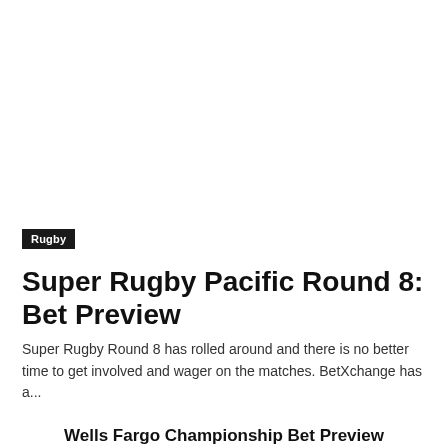Rugby
Super Rugby Pacific Round 8: Bet Preview
Super Rugby Round 8 has rolled around and there is no better time to get involved and wager on the matches. BetXchange has a...
Wells Fargo Championship Bet Preview